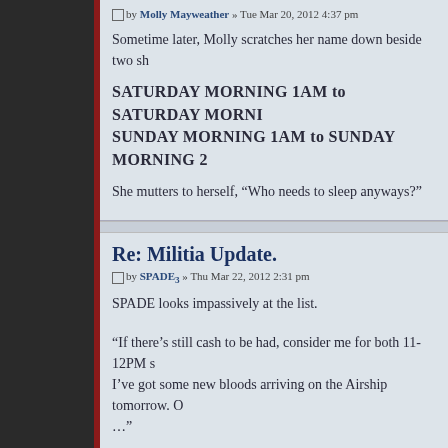by Molly Mayweather » Tue Mar 20, 2012 4:37 pm
Sometime later, Molly scratches her name down beside two sh
SATURDAY MORNING 1AM to SATURDAY MORNI SUNDAY MORNING 1AM to SUNDAY MORNING 2
She mutters to herself, “Who needs to sleep anyways?”
Re: Militia Update.
by SPADE3 » Thu Mar 22, 2012 2:31 pm
SPADE looks impassively at the list.
“If there’s still cash to be had, consider me for both 11-12PM s I’ve got some new bloods arriving on the Airship tomorrow. O…”